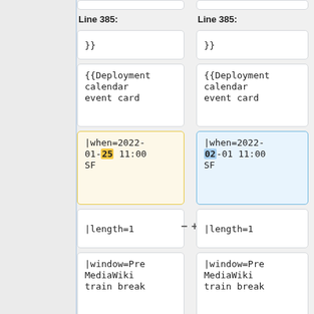Line 385:
Line 385:
}}
}}
{{Deployment calendar event card
{{Deployment calendar event card
|when=2022-01-25 11:00 SF
|when=2022-02-01 11:00 SF
|length=1
|length=1
|window=Pre MediaWiki train break
|window=Pre MediaWiki train break
Line 392:
Line 392: